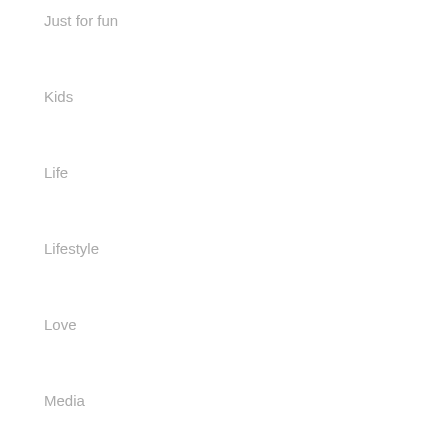Just for fun
Kids
Life
Lifestyle
Love
Media
Men
Motorcycles
Music
Narcissism
Nature
Photography
Pics
Poetry